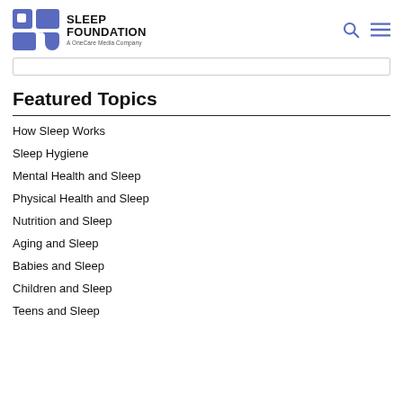Sleep Foundation — A OneCare Media Company
Featured Topics
How Sleep Works
Sleep Hygiene
Mental Health and Sleep
Physical Health and Sleep
Nutrition and Sleep
Aging and Sleep
Babies and Sleep
Children and Sleep
Teens and Sleep